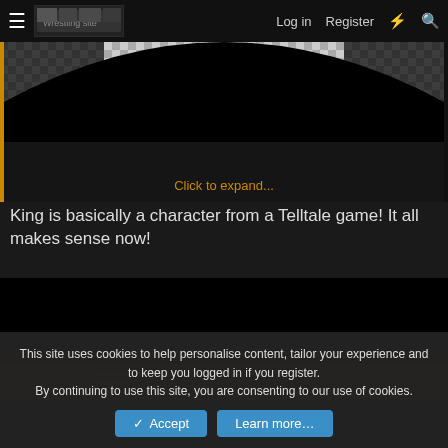≡  [logo]  Log in  Register  ⚡  🔍
[Figure (screenshot): Partially visible image with circular black overlay on a checkered (transparent) background, with an orange 'Click to expand...' link at the bottom.]
King is basically a character from a Telltale game! It all makes sense now!
[Figure (screenshot): Bottom portion of a video/image with mostly black upper area and a dark wooden floor texture visible at the bottom.]
This site uses cookies to help personalise content, tailor your experience and to keep you logged in if you register.
By continuing to use this site, you are consenting to our use of cookies.